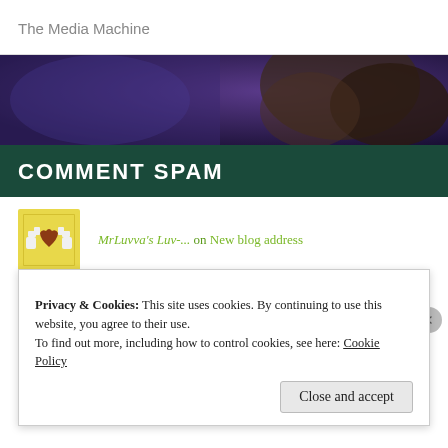The Media Machine
[Figure (photo): Dark purple and brown toned background image, appears to be a stylized website hero banner.]
COMMENT SPAM
MrLuvva's Luv-... on New blog address
Xannziee on So Long, and Thanks for all th...
Privacy & Cookies: This site uses cookies. By continuing to use this website, you agree to their use.
To find out more, including how to control cookies, see here: Cookie Policy